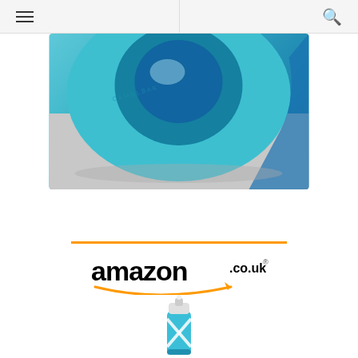Navigation bar with hamburger menu and search icon
[Figure (photo): Close-up photo of a teal/blue water bottle top (appears to be a CamelBak), showing the cap and mouthpiece from above on a grey surface.]
[Figure (other): Amazon.co.uk advertisement block with orange top bar, Amazon logo with smile arrow, and a product image of a blue glass water bottle with white silicone sleeve and flip-top lid.]